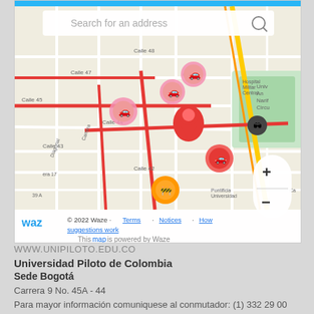[Figure (screenshot): Waze map screenshot showing Bogotá street map with traffic markers, a search bar reading 'Search for an address', zoom controls (+/-), and attribution text '© 2022 Waze · Terms · Notices · How suggestions work. This map is powered by Waze']
WWW.UNIPILOTO.EDU.CO
Universidad Piloto de Colombia
Sede Bogotá
Carrera 9 No. 45A - 44
Para mayor información comuniquese al conmutador: (1) 332 29 00
Línea gratuita nacional: 01 8000 110452